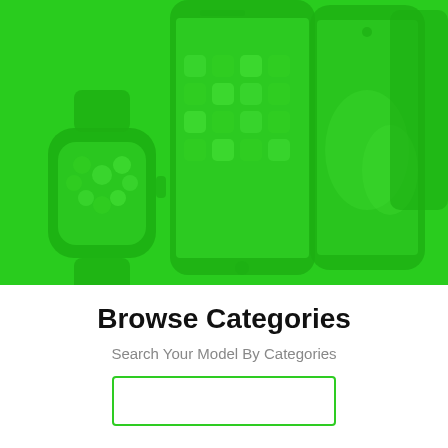[Figure (illustration): Green-tinted banner showing multiple mobile devices: Apple Watch, iPhone (showing home screen), and Samsung Galaxy phone, all overlaid with a bright green color wash on a green background.]
Browse Categories
Search Your Model By Categories
[Figure (other): White search/input box with green border, partially visible at the bottom of the page.]